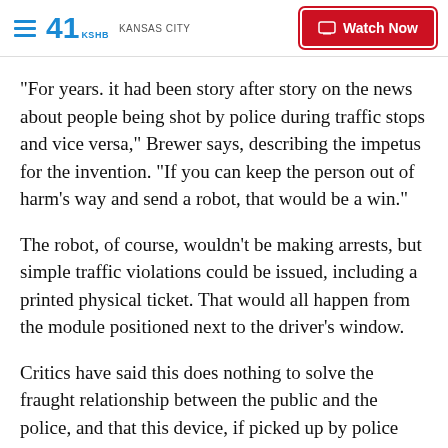41 KSHB KANSAS CITY | Watch Now
“For years. it had been story after story on the news about people being shot by police during traffic stops and vice versa,” Brewer says, describing the impetus for the invention. “If you can keep the person out of harm’s way and send a robot, that would be a win.”
The robot, of course, wouldn’t be making arrests, but simple traffic violations could be issued, including a printed physical ticket. That would all happen from the module positioned next to the driver’s window.
Critics have said this does nothing to solve the fraught relationship between the public and the police, and that this device, if picked up by police departments, would merely be a Band-Aid solution. Brewer wouldn’t